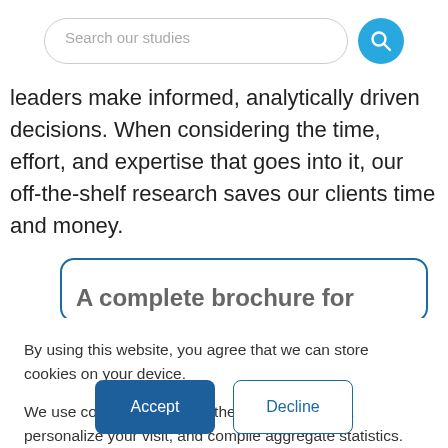[Figure (screenshot): Search bar with text 'Search our studies' and a blue circular search button]
leaders make informed, analytically driven decisions. When considering the time, effort, and expertise that goes into it, our off-the-shelf research saves our clients time and money.
A complete brochure for (partially visible, cut off by cookie overlay)
By using this website, you agree that we can store cookies on your device.

We use cookies to improve the user experience, personalize your visit, and compile aggregate statistics.

More information can be found in our Privacy Policy.